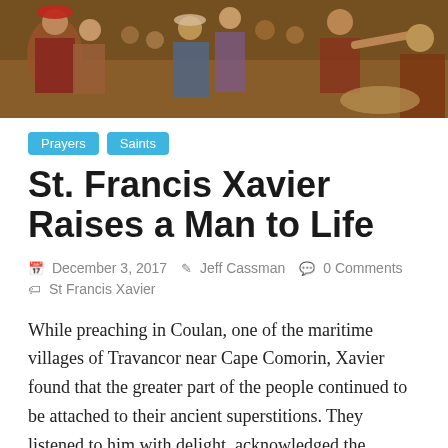[Figure (illustration): A painting depicting a religious/historical scene with multiple figures in classical Renaissance or Baroque style, showing people in robes and period clothing.]
Prayers
Saints
St. Francis Xavier Raises a Man to Life
December 3, 2017   Jeff Cassman   0 Comments   St Francis Xavier
While preaching in Coulan, one of the maritime villages of Travancor near Cape Comorin, Xavier found that the greater part of the people continued to be attached to their ancient superstitions. They listened to him with delight, acknowledged the reasonableness of the Gospel maxims, but did not care to practice them. Finding that he spoke to them of God without producing any effect on their hearts, one day he prayed with extra